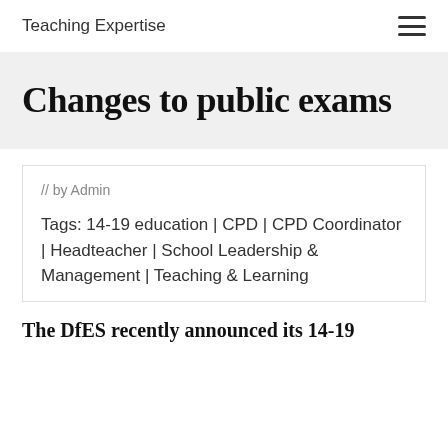Teaching Expertise
Changes to public exams
// by Admin
Tags: 14-19 education | CPD | CPD Coordinator | Headteacher | School Leadership & Management | Teaching & Learning
The DfES recently announced its 14-19